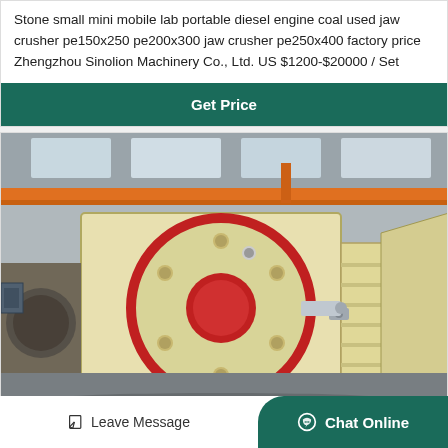Stone small mini mobile lab portable diesel engine coal used jaw crusher pe150x250 pe200x300 jaw crusher pe250x400 factory price Zhengzhou Sinolion Machinery Co., Ltd. US $1200-$20000 / Set
[Figure (other): Button: Get Price on teal/dark green background]
[Figure (photo): Photo of a large jaw crusher machine (cream/yellow colored body with red flywheel) inside an industrial factory with orange overhead crane beams visible in the background]
Leave Message
Chat Online